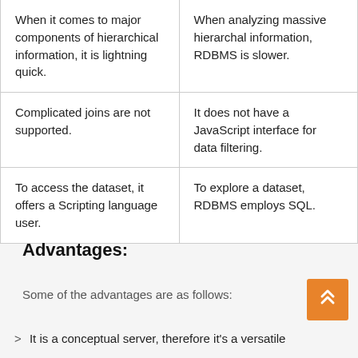| When it comes to major components of hierarchical information, it is lightning quick. | When analyzing massive hierarchal information, RDBMS is slower. |
| Complicated joins are not supported. | It does not have a JavaScript interface for data filtering. |
| To access the dataset, it offers a Scripting language user. | To explore a dataset, RDBMS employs SQL. |
Advantages:
Some of the advantages are as follows:
It is a conceptual server, therefore it's a versatile